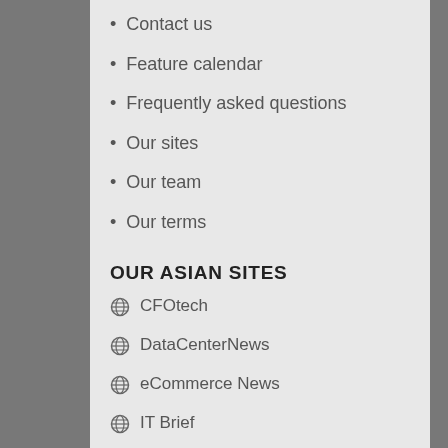Contact us
Feature calendar
Frequently asked questions
Our sites
Our team
Our terms
OUR ASIAN SITES
CFOtech
DataCenterNews
eCommerce News
IT Brief
SecurityBrief